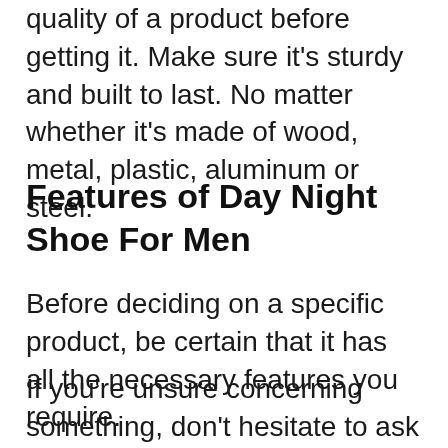quality of a product before getting it. Make sure it’s sturdy and built to last. No matter whether it’s made of wood, metal, plastic, aluminum or steel.
Features of Day Night Shoe For Men
Before deciding on a specific product, be certain that it has all the necessary features you require.
If you’re unsure concerning something, don’t hesitate to ask the manufacturer. That way, you